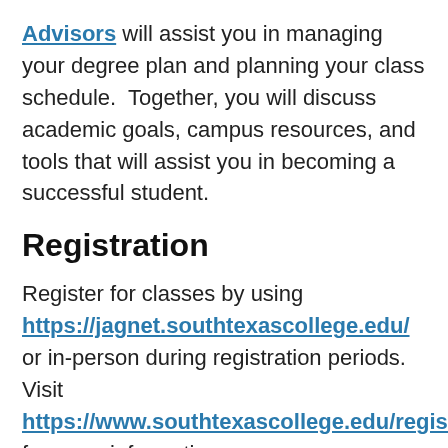Advisors will assist you in managing your degree plan and planning your class schedule.  Together, you will discuss academic goals, campus resources, and tools that will assist you in becoming a successful student.
Registration
Register for classes by using https://jagnet.southtexascollege.edu/ or in-person during registration periods.  Visit https://www.southtexascollege.edu/register/ for more information.
Tuition & Fees
You are required to pay tuition and fees by the due